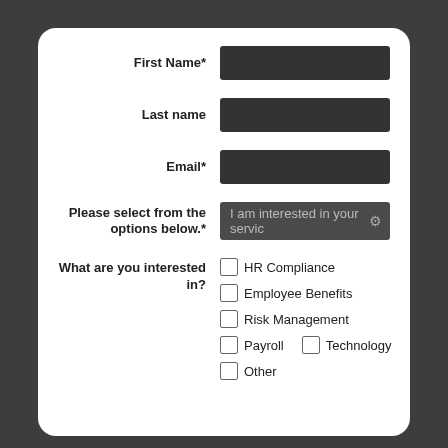First Name*
Last name
Email*
Please select from the options below.*
I am interested in your servic
What are you interested in?
HR Compliance
Employee Benefits
Risk Management
Payroll
Technology
Other